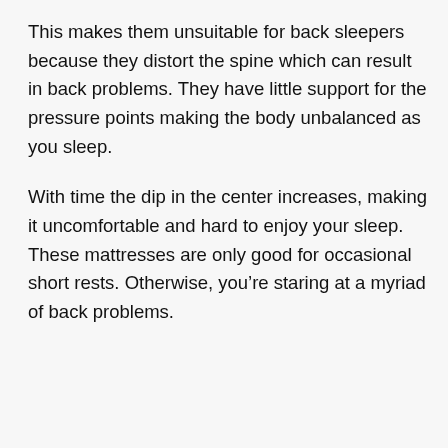This makes them unsuitable for back sleepers because they distort the spine which can result in back problems. They have little support for the pressure points making the body unbalanced as you sleep.
With time the dip in the center increases, making it uncomfortable and hard to enjoy your sleep. These mattresses are only good for occasional short rests. Otherwise, you’re staring at a myriad of back problems.